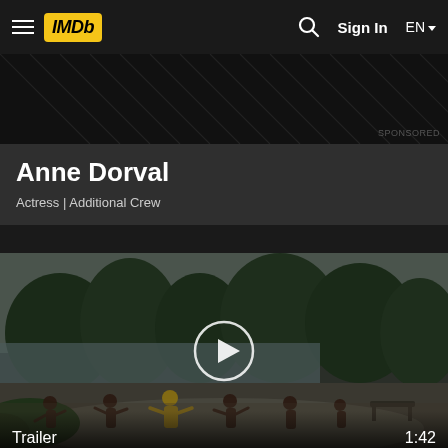IMDb  Sign In  EN
[Figure (screenshot): Dark advertisement/sponsored banner area with diagonal stripe pattern and SPONSORED label]
Anne Dorval
Actress | Additional Crew
[Figure (photo): Video thumbnail showing people dancing or doing tai chi in a park near a lake with trees. Play button overlay visible. Label: Trailer, duration: 1:42]